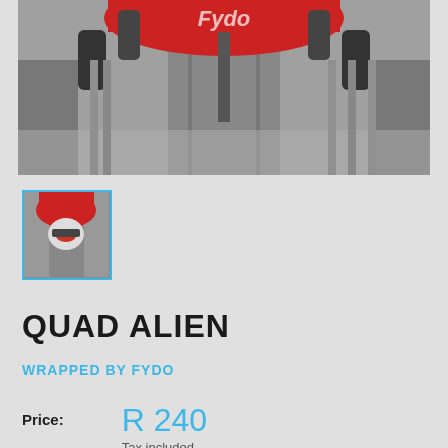[Figure (photo): Main product image showing a quad/ATV-themed artwork with red and grey tones, viewed from below, with a logo reading 'Fydo' in red]
[Figure (photo): Thumbnail image of the same quad alien artwork with a blue border, showing the artwork in miniature]
QUAD ALIEN
WRAPPED BY FYDO
Price:  R 240
Tax included